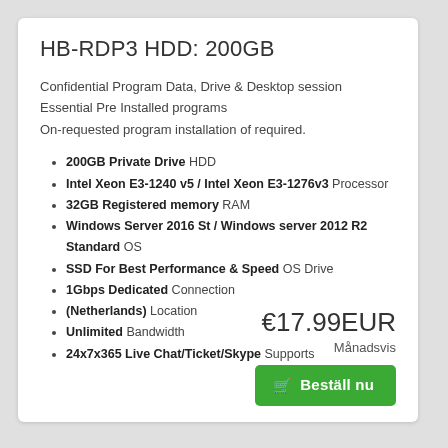HB-RDP3 HDD: 200GB
Confidential Program Data, Drive & Desktop session
Essential Pre Installed programs
On-requested program installation of required.
200GB Private Drive HDD
Intel Xeon E3-1240 v5 / Intel Xeon E3-1276v3 Processor
32GB Registered memory RAM
Windows Server 2016 St / Windows server 2012 R2 Standard OS
SSD For Best Performance & Speed OS Drive
1Gbps Dedicated Connection
(Netherlands) Location
Unlimited Bandwidth
24x7x365 Live Chat/Ticket/Skype Supports
€17.99EUR
Månadsvis
Beställ nu